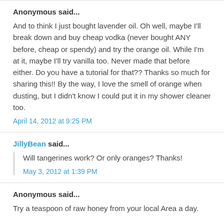Anonymous said...
And to think I just bought lavender oil. Oh well, maybe I'll break down and buy cheap vodka (never bought ANY before, cheap or spendy) and try the orange oil. While I'm at it, maybe I'll try vanilla too. Never made that before either. Do you have a tutorial for that?? Thanks so much for sharing this!! By the way, I love the smell of orange when dusting, but I didn't know I could put it in my shower cleaner too.
April 14, 2012 at 9:25 PM
JillyBean said...
Will tangerines work? Or only oranges? Thanks!
May 3, 2012 at 1:39 PM
Anonymous said...
Try a teaspoon of raw honey from your local Area a day.